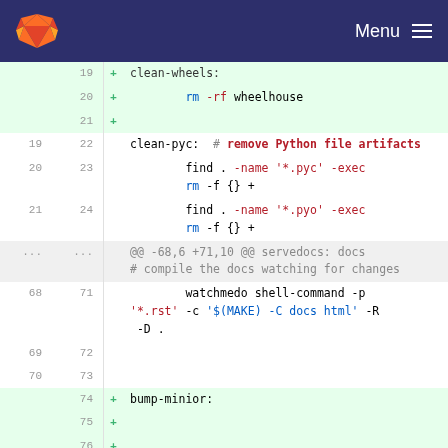Menu
[Figure (screenshot): GitLab-style diff view showing Makefile code changes. Lines 19-21 added (green background) show clean-wheels target with rm -rf wheelhouse. Lines 22-24 show clean-pyc target with find commands. A meta hunk line appears (@@ -68,6 +71,10 @@). Lines 68-73 show watchmedo shell-command. Lines 74-76 added (green) show bump-minior target.]